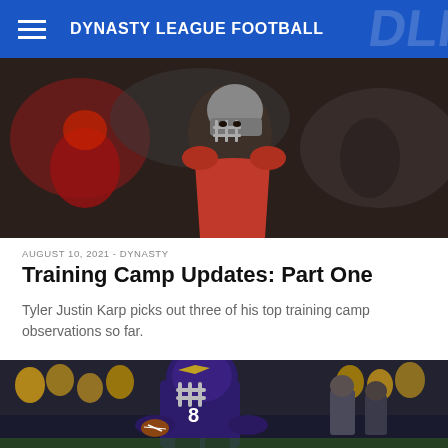DYNASTY LEAGUE FOOTBALL
[Figure (photo): Football player wearing a helmet and dark uniform at training camp, close-up shot]
AUGUST 10, 2021 - DYNASTY
Training Camp Updates: Part One
Tyler Justin Karp picks out three of his top training camp observations so far.
[Figure (photo): NFL player in purple Baltimore Ravens jersey number 8 running on field at night game]